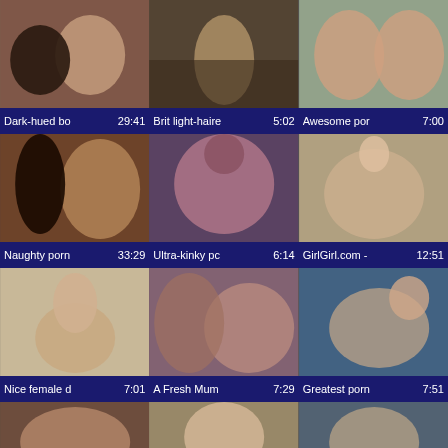[Figure (photo): Video thumbnail 1]
Dark-hued bo   29:41
[Figure (photo): Video thumbnail 2]
Brit light-haire   5:02
[Figure (photo): Video thumbnail 3]
Awesome por   7:00
[Figure (photo): Video thumbnail 4]
Naughty porn   33:29
[Figure (photo): Video thumbnail 5]
Ultra-kinky pc   6:14
[Figure (photo): Video thumbnail 6]
GirlGirl.com -   12:51
[Figure (photo): Video thumbnail 7]
Nice female d   7:01
[Figure (photo): Video thumbnail 8]
A Fresh Mum   7:29
[Figure (photo): Video thumbnail 9]
Greatest porn   7:51
[Figure (photo): Video thumbnail 10 (partial)]
[Figure (photo): Video thumbnail 11 (partial)]
[Figure (photo): Video thumbnail 12 (partial)]